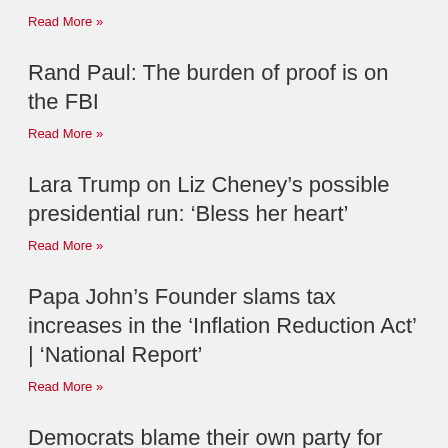Read More »
Rand Paul: The burden of proof is on the FBI
Read More »
Lara Trump on Liz Cheney’s possible presidential run: ‘Bless her heart’
Read More »
Papa John’s Founder slams tax increases in the ‘Inflation Reduction Act’ | ‘National Report’
Read More »
Democrats blame their own party for inflation in… REPORT |'National Report'...